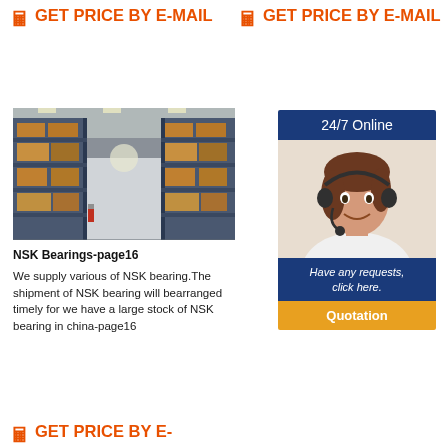GET PRICE BY E-MAIL
GET PRICE BY E-MAIL
[Figure (photo): Interior of a large warehouse with metal shelving racks on both sides, perspective view down a central aisle, industrial lighting.]
NSK Bearings-page16
We supply various of NSK bearing.The shipment of NSK bearing will bearranged timely for we have a large stock of NSK bearing in china-page16
[Figure (infographic): 24/7 Online customer service widget with blue banner reading '24/7 Online', photo of smiling woman with headset, dark blue box with italic text 'Have any requests, click here.', and orange button labeled 'Quotation'.]
GET PRICE BY E-